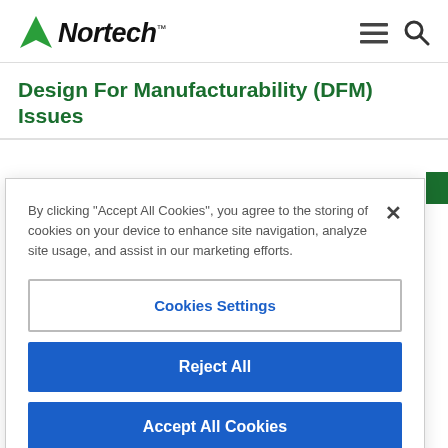Nortech [logo]
Design For Manufacturability (DFM) Issues
By clicking "Accept All Cookies", you agree to the storing of cookies on your device to enhance site navigation, analyze site usage, and assist in our marketing efforts.
Cookies Settings
Reject All
Accept All Cookies